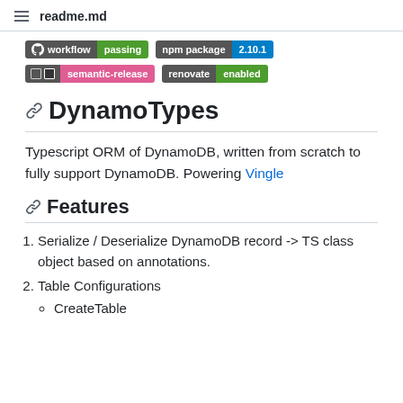readme.md
[Figure (infographic): Four badge images: workflow passing, npm package 2.10.1, semantic-release, renovate enabled]
DynamoTypes
Typescript ORM of DynamoDB, written from scratch to fully support DynamoDB. Powering Vingle
Features
Serialize / Deserialize DynamoDB record -> TS class object based on annotations.
Table Configurations
CreateTable